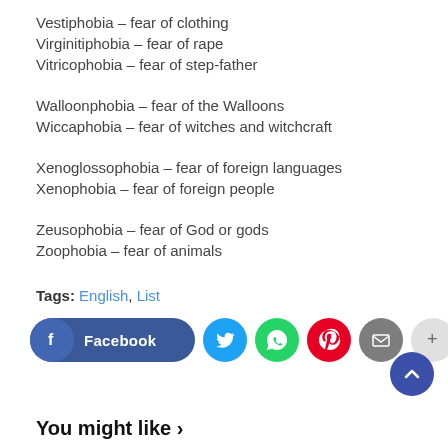Vestiphobia – fear of clothing
Virginitiphobia – fear of rape
Vitricophobia – fear of step-father
Walloonphobia – fear of the Walloons
Wiccaphobia – fear of witches and witchcraft
Xenoglossophobia – fear of foreign languages
Xenophobia – fear of foreign people
Zeusophobia – fear of God or gods
Zoophobia – fear of animals
Tags: English, List
[Figure (infographic): Social sharing buttons: Facebook (pill-shaped blue), Twitter (cyan circle), WhatsApp (green circle), Pinterest (red circle), Email (grey circle), More/Plus (light grey circle), and a blue scroll-to-top arrow circle in bottom right]
You might like >